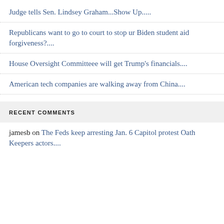Judge tells Sen. Lindsey Graham...Show Up.....
Republicans want to go to court to stop ur Biden student aid forgiveness?....
House Oversight Committeee will get Trump's financials....
American tech companies are walking away from China....
RECENT COMMENTS
jamesb on The Feds keep arresting Jan. 6 Capitol protest Oath Keepers actors....